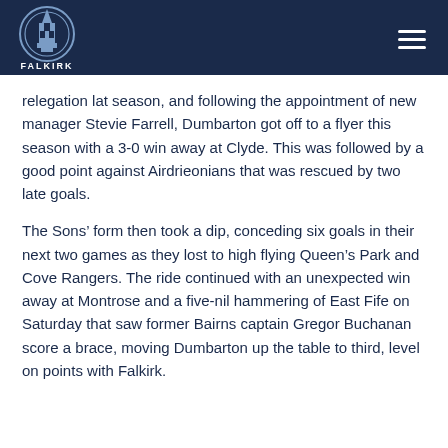FALKIRK
relegation lat season, and following the appointment of new manager Stevie Farrell, Dumbarton got off to a flyer this season with a 3-0 win away at Clyde. This was followed by a good point against Airdrieonians that was rescued by two late goals.
The Sons’ form then took a dip, conceding six goals in their next two games as they lost to high flying Queen’s Park and Cove Rangers. The ride continued with an unexpected win away at Montrose and a five-nil hammering of East Fife on Saturday that saw former Bairns captain Gregor Buchanan score a brace, moving Dumbarton up the table to third, level on points with Falkirk.